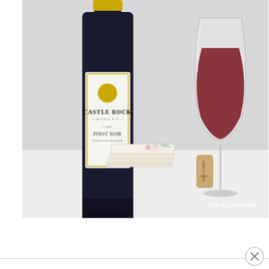[Figure (photo): A Castle Rock Pinot Noir wine bottle on the left, a large red wine glass on the right with red wine in it, a stack of decorative tile coasters in the center-front, and a Castle Rock wine cork to the right of the coasters. White/gray background. DIY PLAYBOOK watermark in bottom right corner.]